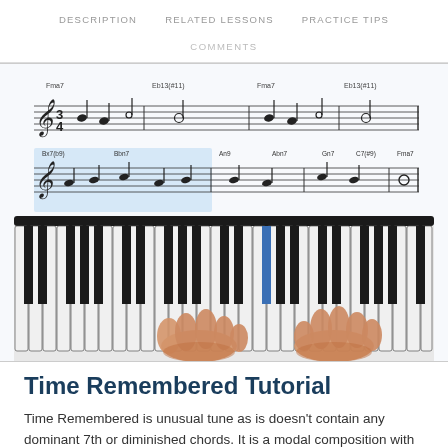DESCRIPTION   RELATED LESSONS   PRACTICE TIPS
COMMENTS
[Figure (illustration): Sheet music notation showing two lines of musical score for 'Time Remembered' with chord symbols including Fma7, Eb13(#11), Bx7(b9), Bbn7, An9, Abn7, Gn7, C7(#9), and a piano keyboard with two hands playing]
Time Remembered Tutorial
Time Remembered is unusual tune as is doesn't contain any dominant 7th or diminished chords. It is a modal composition with interesting changes...